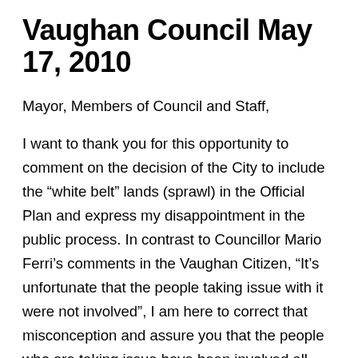Vaughan Council May 17, 2010
Mayor, Members of Council and Staff,
I want to thank you for this opportunity to comment on the decision of the City to include the “white belt” lands (sprawl) in the Official Plan and express my disappointment in the public process. In contrast to Councillor Mario Ferri’s comments in the Vaughan Citizen, “It’s unfortunate that the people taking issue with it were not involved”, I am here to correct that misconception and assure you that the people who are taking issue have been involved all along. I have been at all the evening public meetings on this OP process and I have been expressing my concerns to both Pino and Paul ever since last November, when we discovered that the City had decided to expand the urban boundary with no public